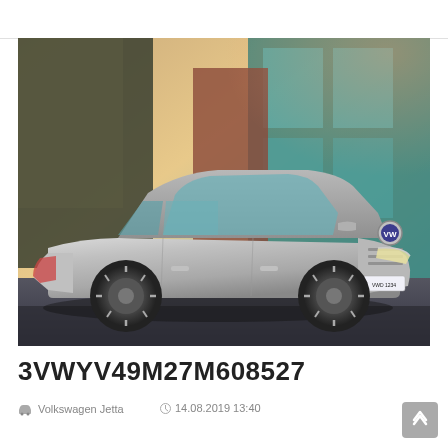[Figure (photo): Silver Volkswagen Jetta sedan photographed in 3/4 front view against a modern building background with teal glass panels and warm sunset lighting. Brazilian license plate reading VWD 1234.]
3VWYV49M27M608527
Volkswagen Jetta   14.08.2019 13:40